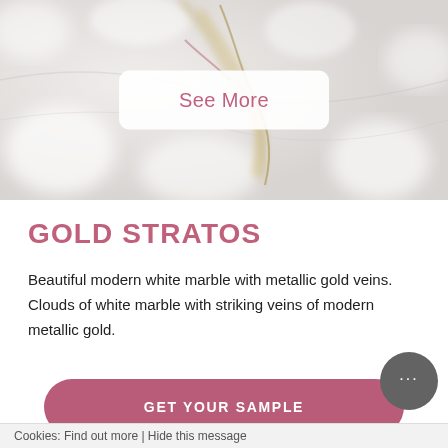[Figure (photo): White marble with metallic gold veins, soft bokeh background. A white button overlay reads 'See More' in mauve/pink text.]
GOLD STRATOS
Beautiful modern white marble with metallic gold veins. Clouds of white marble with striking veins of modern metallic gold.
GET YOUR SAMPLE
Cookies: Find out more | Hide this message